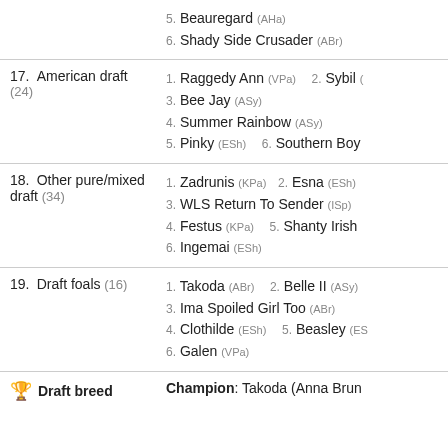5. Beauregard (AHa)  6. Shady Side Crusader (ABr)
17. American draft (24)  1. Raggedy Ann (VPa)  2. Sybil  3. Bee Jay (ASy)  4. Summer Rainbow (ASy)  5. Pinky (ESh)  6. Southern Boy
18. Other pure/mixed draft (34)  1. Zadrunis (KPa)  2. Esna (ESh)  3. WLS Return To Sender (ISp)  4. Festus (KPa)  5. Shanty Irish  6. Ingemai (ESh)
19. Draft foals (16)  1. Takoda (ABr)  2. Belle II (ASy)  3. Ima Spoiled Girl Too (ABr)  4. Clothilde (ESh)  5. Beasley (ES  6. Galen (VPa)
Draft breed  Champion: Takoda (Anna Brun